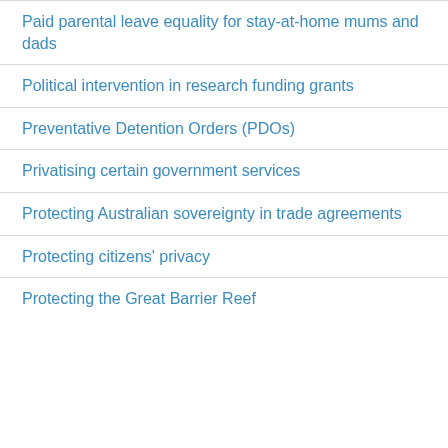Paid parental leave equality for stay-at-home mums and dads
Political intervention in research funding grants
Preventative Detention Orders (PDOs)
Privatising certain government services
Protecting Australian sovereignty in trade agreements
Protecting citizens' privacy
Protecting the Great Barrier Reef